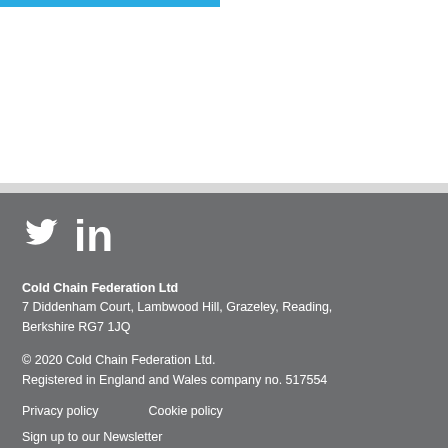[Figure (other): Blue horizontal bar accent at top left]
[Figure (other): Social media icons: Twitter bird icon and LinkedIn 'in' icon in white]
Cold Chain Federation Ltd
7 Diddenham Court, Lambwood Hill, Grazeley, Reading, Berkshire RG7 1JQ
© 2020 Cold Chain Federation Ltd.
Registered in England and Wales company no. 517554
Privacy policy        Cookie policy
Sign up to our Newsletter
Design by Fluid Design Studio